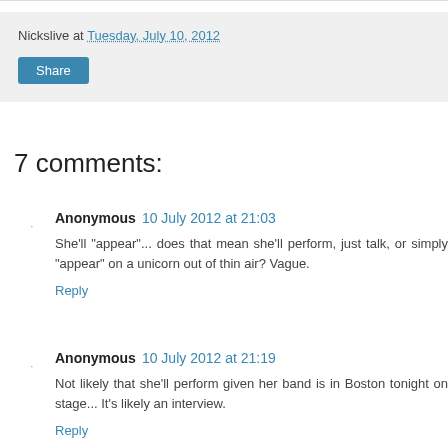Nickslive at Tuesday, July 10, 2012
Share
7 comments:
Anonymous 10 July 2012 at 21:03
She'll "appear"... does that mean she'll perform, just talk, or simply "appear" on a unicorn out of thin air? Vague.
Reply
Anonymous 10 July 2012 at 21:19
Not likely that she'll perform given her band is in Boston tonight on stage... It's likely an interview.
Reply